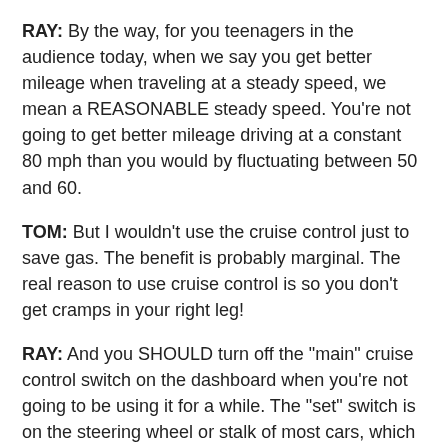RAY: By the way, for you teenagers in the audience today, when we say you get better mileage when traveling at a steady speed, we mean a REASONABLE steady speed. You're not going to get better mileage driving at a constant 80 mph than you would by fluctuating between 50 and 60.
TOM: But I wouldn't use the cruise control just to save gas. The benefit is probably marginal. The real reason to use cruise control is so you don't get cramps in your right leg!
RAY: And you SHOULD turn off the "main" cruise control switch on the dashboard when you're not going to be using it for a while. The "set" switch is on the steering wheel or stalk of most cars, which is great because it's very convenient. But it's also easy to engage it accidentally. That's why there's a harder to reach "main" switch on the dashboard. So, yes, turn it